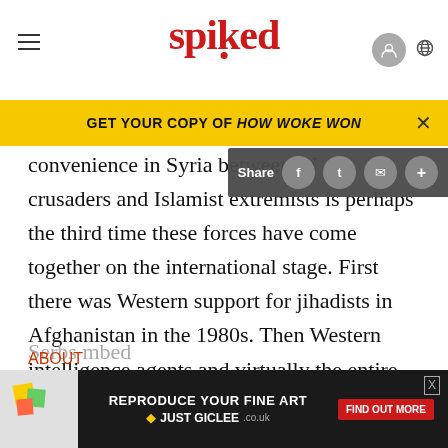spiked
GET YOUR COPY OF HOW WOKE WON
convenience in Syria between W crusaders and Islamist extremists is perhaps the third time these forces have come together on the international stage. First there was Western support for jihadists in Afghanistan in the 1980s. Then Western intelligence agents and virtually the entire Western media found themselves on the same side as the Mujahideen in Bosnia in the 1990s, both sides utterly devoted to a good-and-evil script in which th Serbs ... mbed ABOUT
[Figure (screenshot): Advertisement banner for 'REPRODUCE YOUR FINE ART JUST GICLEE' with sticky note image and Find Out More button]